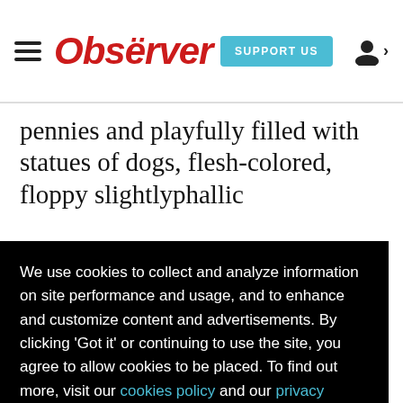Observer — SUPPORT US
pennies and playfully filled with statues of dogs, flesh-colored, floppy slightlyphallic
We use cookies to collect and analyze information on site performance and usage, and to enhance and customize content and advertisements. By clicking 'Got it' or continuing to use the site, you agree to allow cookies to be placed. To find out more, visit our cookies policy and our privacy policy.
Got it!
Travels," which is part of Bowling's map